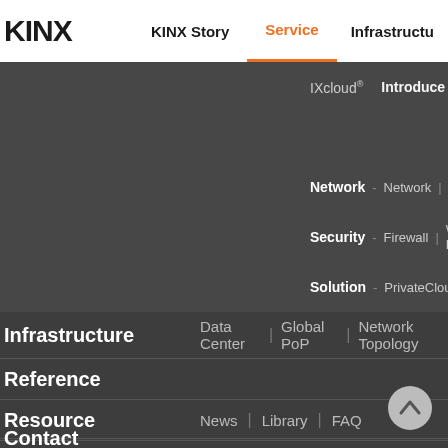KINX | KINX Story | Service | Infrastructure
IXcloud® - Introduce – About IXcloud | Multizone
Compute - Instance | Auto Scaling
Network - Network | Load Balance
Security - Firewall | Web Firewall
Solution - PrivateCloud | Hybrid Cl
Infrastructure - Data Center | Global PoP | Network Topology
Reference
Resource - News | Library | FAQ
Contact